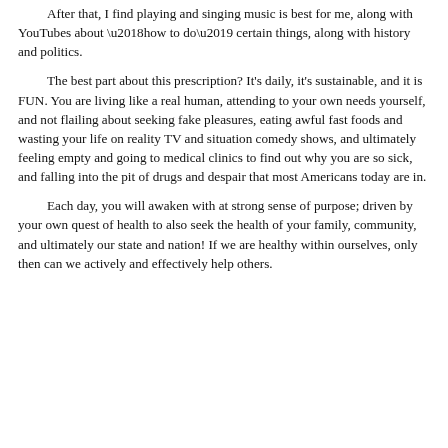After that, I find playing and singing music is best for me, along with YouTubes about ‘how to do’ certain things, along with history and politics.
The best part about this prescription?  It’s daily, it’s sustainable, and it is FUN.  You are living like a real human, attending to your own needs yourself, and not flailing about seeking fake pleasures, eating awful fast foods and wasting your life on reality TV and situation comedy shows, and ultimately feeling empty and going to medical clinics to find out why you are so sick, and falling into the pit of drugs and despair that most Americans today are in.
Each day, you will awaken with at strong sense of purpose; driven by your own quest of health to also seek the health of your family, community, and ultimately our state and nation!  If we are healthy within ourselves, only then can we actively and effectively help others.